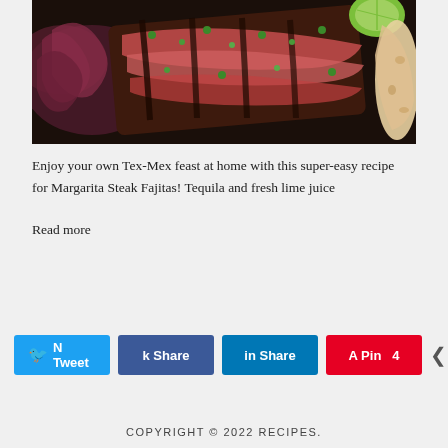[Figure (photo): Overhead photo of sliced Margarita Steak Fajitas on a dark surface with grilled red onions, fresh herbs/cilantro, a lime wedge, and flour tortillas.]
Enjoy your own Tex-Mex feast at home with this super-easy recipe for Margarita Steak Fajitas! Tequila and fresh lime juice
Read more
[Figure (infographic): Social share buttons: Tweet (Twitter, blue), Share (Facebook, dark blue), Share (LinkedIn, blue), Pin 4 (Pinterest, red), and a share icon with count 4 SHARES]
COPYRIGHT © 2022 RECIPES.